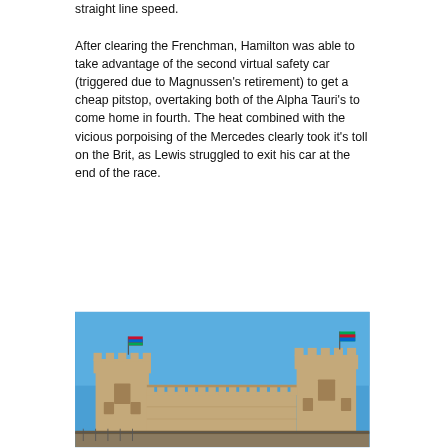straight line speed.

After clearing the Frenchman, Hamilton was able to take advantage of the second virtual safety car (triggered due to Magnussen's retirement) to get a cheap pitstop, overtaking both of the Alpha Tauri's to come home in fourth. The heat combined with the vicious porpoising of the Mercedes clearly took it's toll on the Brit, as Lewis struggled to exit his car at the end of the race.
[Figure (photo): A photograph of a historic castle or fortress with crenellated stone walls and two large towers, each topped with flags (one green and one red/blue), set against a bright blue sky. The architecture appears to be a medieval-style fortification, likely the Old City walls in Baku, Azerbaijan.]